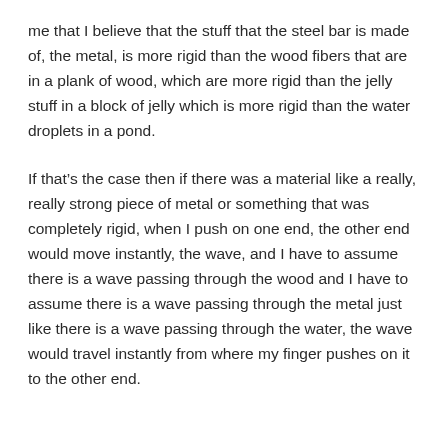me that I believe that the stuff that the steel bar is made of, the metal, is more rigid than the wood fibers that are in a plank of wood, which are more rigid than the jelly stuff in a block of jelly which is more rigid than the water droplets in a pond.
If that's the case then if there was a material like a really, really strong piece of metal or something that was completely rigid, when I push on one end, the other end would move instantly, the wave, and I have to assume there is a wave passing through the wood and I have to assume there is a wave passing through the metal just like there is a wave passing through the water, the wave would travel instantly from where my finger pushes on it to the other end.